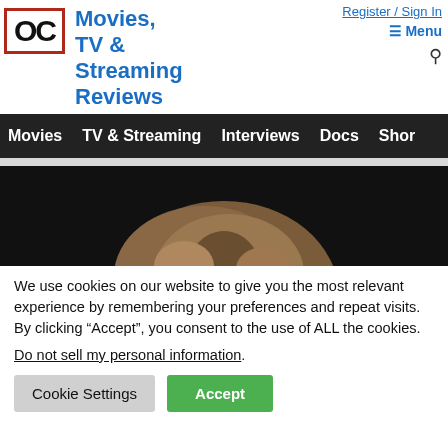[Figure (logo): OC logo with red border, site title 'Movies, TV & Streaming Reviews' in blue, Register/Sign in link, Menu icon, and search icon]
Movies | TV & Streaming | Interviews | Docs | Shor
[Figure (photo): Photo showing the top of a person's head with brown hair against a black background]
We use cookies on our website to give you the most relevant experience by remembering your preferences and repeat visits. By clicking “Accept”, you consent to the use of ALL the cookies.
Do not sell my personal information.
Cookie Settings | Accept